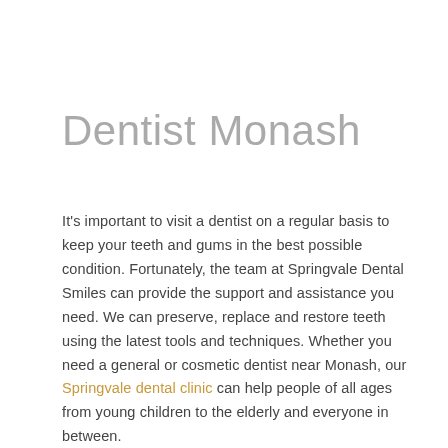Dentist Monash
It's important to visit a dentist on a regular basis to keep your teeth and gums in the best possible condition. Fortunately, the team at Springvale Dental Smiles can provide the support and assistance you need. We can preserve, replace and restore teeth using the latest tools and techniques. Whether you need a general or cosmetic dentist near Monash, our Springvale dental clinic can help people of all ages from young children to the elderly and everyone in between.